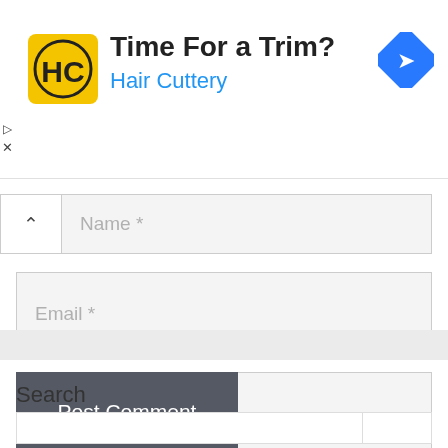[Figure (infographic): Advertisement banner for Hair Cuttery showing yellow logo with HC letters, text 'Time For a Trim?' and 'Hair Cuttery' in blue, and a blue navigation arrow icon on the right. Small play and close icons on left edge.]
Name *
Email *
Website
Post Comment
Search